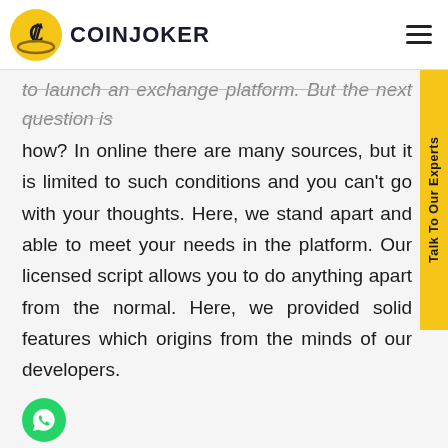COINJOKER
to launch an exchange platform. But the next question is how? In online there are many sources, but it is limited to such conditions and you can't go with your thoughts. Here, we stand apart and able to meet your needs in the platform. Our licensed script allows you to do anything apart from the normal. Here, we provided solid features which origins from the minds of our developers.
[Figure (logo): WhatsApp green circular icon]
Admin area features:
[Figure (logo): Telegram blue circular icon]
Informative Dashboard, Manage 100+ Currencies, Global Payment Gateways, Users Management, Admin Earnings, Exchange Directions, Manage News, Email Templates,